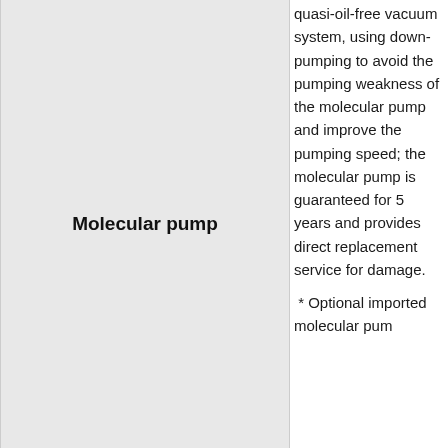Molecular pump
quasi-oil-free vacuum system, using down-pumping to avoid the pumping weakness of the molecular pump and improve the pumping speed; the molecular pump is guaranteed for 5 years and provides direct replacement service for damage.
* Optional imported molecular pum